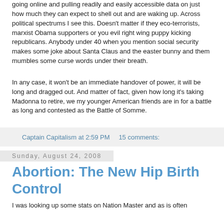going online and pulling readily and easily accessible data on just how much they can expect to shell out and are waking up. Across political spectrums I see this. Doesn't matter if they eco-terrorists, marxist Obama supporters or you evil right wing puppy kicking republicans. Anybody under 40 when you mention social security makes some joke about Santa Claus and the easter bunny and them mumbles some curse words under their breath.
In any case, it won't be an immediate handover of power, it will be long and dragged out. And matter of fact, given how long it's taking Madonna to retire, we my younger American friends are in for a battle as long and contested as the Battle of Somme.
Captain Capitalism at 2:59 PM    15 comments:
Sunday, August 24, 2008
Abortion: The New Hip Birth Control
I was looking up some stats on Nation Master and as is often